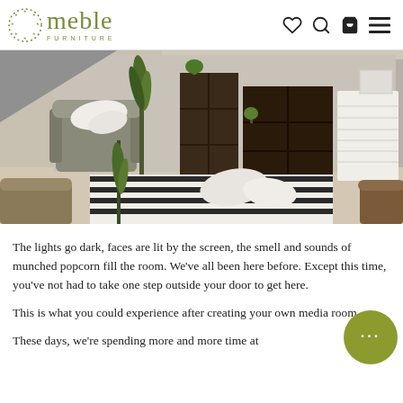meble FURNITURE
[Figure (photo): Interior room scene showing a modern living space with a grey armchair, dark wood cube shelving units, a white chest of drawers, striped black and white rug, white fluffy cushions on the floor, and green plants]
The lights go dark, faces are lit by the screen, the smell and sounds of munched popcorn fill the room. We've all been here before. Except this time, you've not had to take one step outside your door to get here.
This is what you could experience after creating your own media room...
These days, we're spending more and more time at